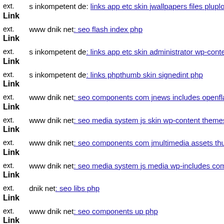ext. Link s inkompetent de: links app etc skin jwallpapers files plupload
ext. Link www dnik net: seo flash index php
ext. Link s inkompetent de: links app etc skin administrator wp-content t
ext. Link s inkompetent de: links phpthumb skin signedint php
ext. Link www dnik net: seo components com jnews includes openflashc
ext. Link www dnik net: seo media system js skin wp-content themes ga
ext. Link www dnik net: seo components com jmultimedia assets thumbs
ext. Link www dnik net: seo media system js media wp-includes compon
ext. Link dnik net: seo libs php
ext. Link www dnik net: seo components up php
ext. Link dnik net: seo media includes java php
ext. Link